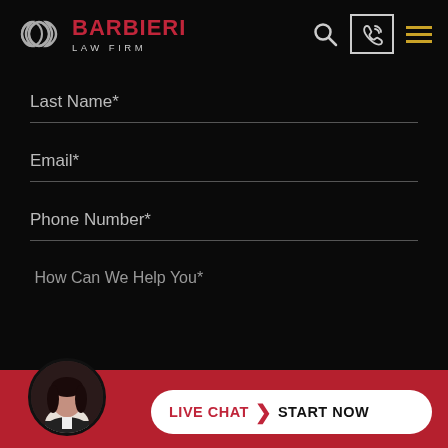[Figure (logo): Barbieri Law Firm logo with diamond/infinity knot icon in grey, BARBIERI in red bold, LAW FIRM in grey small caps]
Last Name*
Email*
Phone Number*
How Can We Help You*
[Figure (screenshot): Live chat bar at bottom with woman's avatar photo, white pill-shaped button reading LIVE CHAT > START NOW in red and black text on white background]